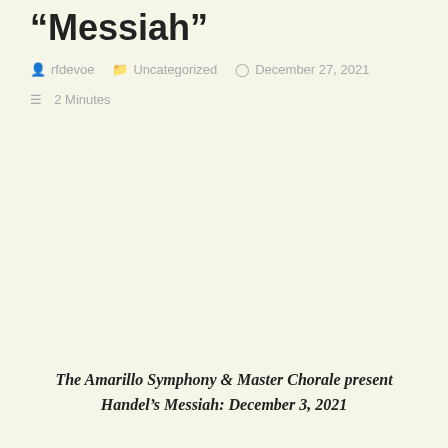“Messiah”
rfdevoe   Uncategorized   December 27, 2021   2 Minutes
The Amarillo Symphony & Master Chorale present Handel’s Messiah: December 3, 2021